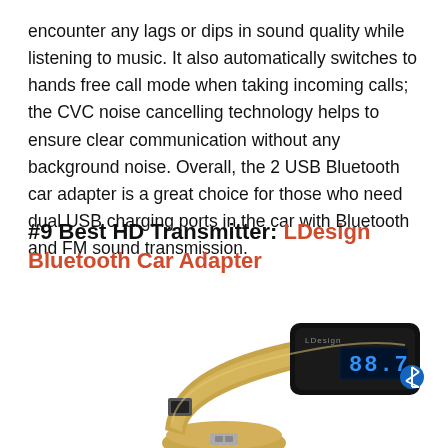encounter any lags or dips in sound quality while listening to music. It also automatically switches to hands free call mode when taking incoming calls; the CVC noise cancelling technology helps to ensure clear communication without any background noise. Overall, the 2 USB Bluetooth car adapter is a great choice for those who need dual USB charging ports in the car with Bluetooth and FM sound transmission.
#9 Best HD Transmitter: LDesign Bluetooth Car Adapter
[Figure (photo): Photo of the LDesign Bluetooth Car Adapter — a gold and black FM transmitter device with a USB port and a blue LED display showing '88.7', plugged into a car's cigarette lighter socket.]